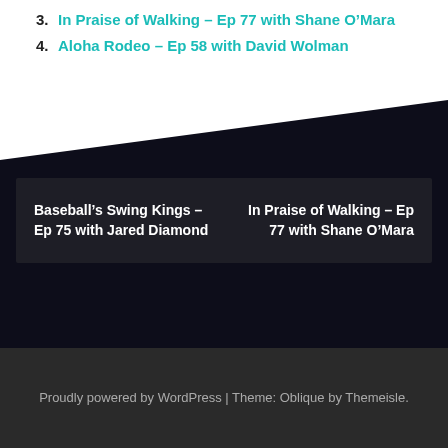3. In Praise of Walking – Ep 77 with Shane O'Mara
4. Aloha Rodeo – Ep 58 with David Wolman
Baseball's Swing Kings – Ep 75 with Jared Diamond
In Praise of Walking – Ep 77 with Shane O'Mara
Proudly powered by WordPress | Theme: Oblique by Themeisle.